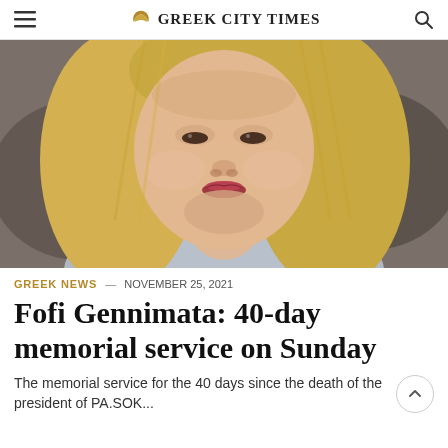GREEK CITY TIMES
[Figure (photo): Close-up portrait of a woman with short blonde hair, looking forward with a serious expression, wearing a light blue outfit and a necklace.]
GREEK NEWS — NOVEMBER 25, 2021
Fofi Gennimata: 40-day memorial service on Sunday
The memorial service for the 40 days since the death of the president of PA.SOK...